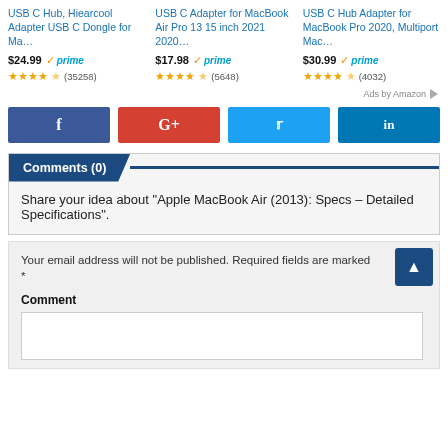[Figure (screenshot): Three Amazon product listings for USB C adapters with prices, prime badges, star ratings and review counts]
USB C Hub, Hiearcool Adapter USB C Dongle for Ma…
$24.99 ✓prime ★★★★½ (35258)
USB C Adapter for MacBook Air Pro 13 15 inch 2021 2020…
$17.98 ✓prime ★★★★½ (5648)
USB C Hub Adapter for MacBook Pro 2020, Multiport Mac…
$30.99 ✓prime ★★★★½ (4032)
Ads by Amazon
[Figure (infographic): Social sharing buttons: Facebook, Google+, Twitter, LinkedIn]
Comments (0)
Share your idea about "Apple MacBook Air (2013): Specs – Detailed Specifications".
Your email address will not be published. Required fields are marked *
Comment